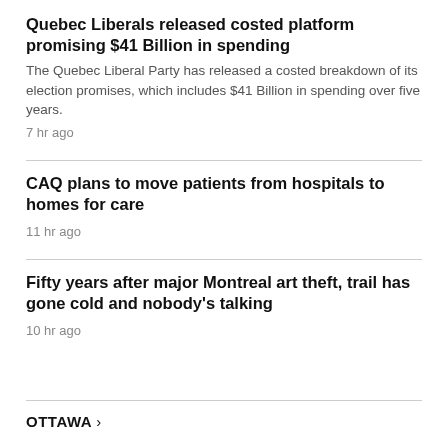Quebec Liberals released costed platform promising $41 Billion in spending
The Quebec Liberal Party has released a costed breakdown of its election promises, which includes $41 Billion in spending over five years.
7 hr ago
CAQ plans to move patients from hospitals to homes for care
11 hr ago
Fifty years after major Montreal art theft, trail has gone cold and nobody's talking
10 hr ago
OTTAWA >